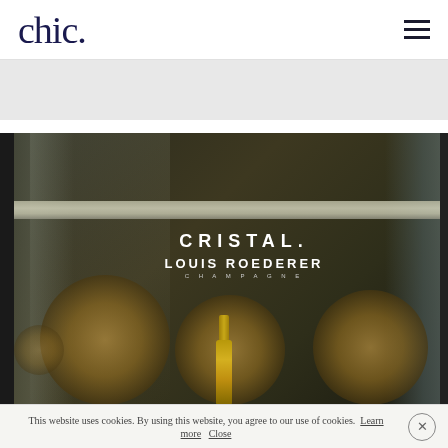chic.
[Figure (photo): A champagne store window display showing a Cristal Louis Roederer Champagne advertisement with a gold champagne bottle and circular decorative orbs, reflected in glass]
This website uses cookies. By using this website, you agree to our use of cookies. Learn more Close